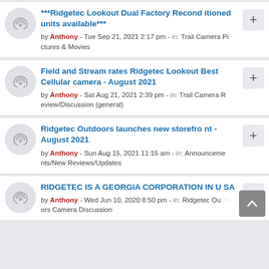***Ridgetec Lookout Dual Factory Reconditioned units available*** by Anthony - Tue Sep 21, 2021 2:17 pm - in: Trail Camera Pictures & Movies
Field and Stream rates Ridgetec Lookout Best Cellular camera - August 2021 by Anthony - Sat Aug 21, 2021 2:39 pm - in: Trail Camera Review/Discussion (general)
Ridgetec Outdoors launches new storefront - August 2021 by Anthony - Sun Aug 15, 2021 11:15 am - in: Announcements/New Reviews/Updates
RIDGETEC IS A GEORGIA CORPORATION IN USA by Anthony - Wed Jun 10, 2020 8:50 pm - in: Ridgetec Outdoors Camera Discussion